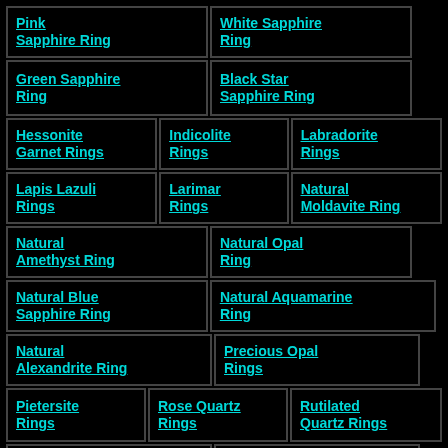| Pink Sapphire Ring | White Sapphire Ring |  |
| Green Sapphire Ring | Black Star Sapphire Ring |  |
| Hessonite Garnet Rings | Indicolite Rings | Labradorite Rings |
| Lapis Lazuli Rings | Larimar Rings | Natural Moldavite Ring |
| Natural Amethyst Ring | Natural Opal Ring |  |
| Natural Blue Sapphire Ring | Natural Aquamarine Ring |  |
| Natural Alexandrite Ring | Precious Opal Rings |  |
| Pietersite Rings | Rose Quartz Rings | Rutilated Quartz Rings |
| Smoky Quartz | Natural Sapphire |  |